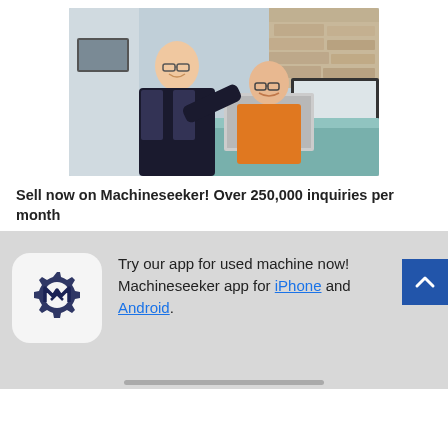[Figure (photo): Two men at a reception desk looking at a laptop; one in a dark suit, one in an orange shirt, in a modern office setting]
Sell now on Machineseeker! Over 250,000 inquiries per month
[Figure (logo): Machineseeker app icon: gear with letter M and lightning bolt on white rounded square background]
Try our app for used machines now! Machineseeker app for iPhone and Android.